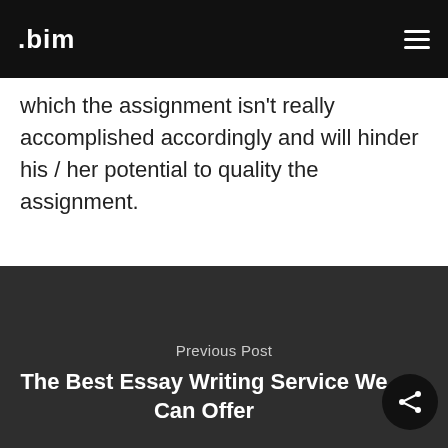.bim
which the assignment isn't really accomplished accordingly and will hinder his / her potential to quality the assignment.
Previous Post
The Best Essay Writing Service We Can Offer